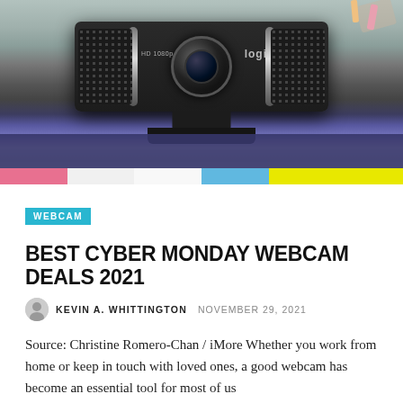[Figure (photo): Close-up photo of a Logitech HD 1080p webcam (Pro model) in black, showing the lens and grille, mounted on a monitor, with colorful desk items visible in the background.]
WEBCAM
BEST CYBER MONDAY WEBCAM DEALS 2021
KEVIN A. WHITTINGTON  NOVEMBER 29, 2021
Source: Christine Romero-Chan / iMore Whether you work from home or keep in touch with loved ones, a good webcam has become an essential tool for most of us